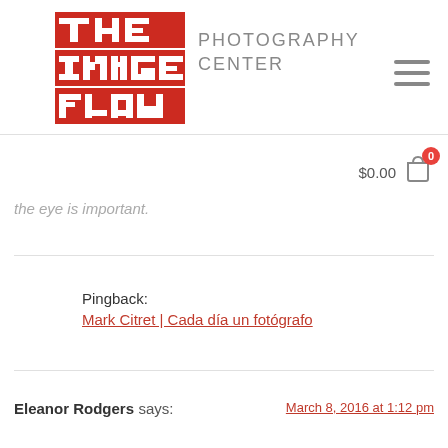[Figure (logo): The Image Flow Photography Center logo — red square blocks spelling THE IMAGE FLOW with white cutout letters, next to the text PHOTOGRAPHY CENTER in gray]
$0.00
the eye is important.
Pingback:
Mark Citret | Cada día un fotógrafo
Eleanor Rodgers says:
March 8, 2016 at 1:12 pm